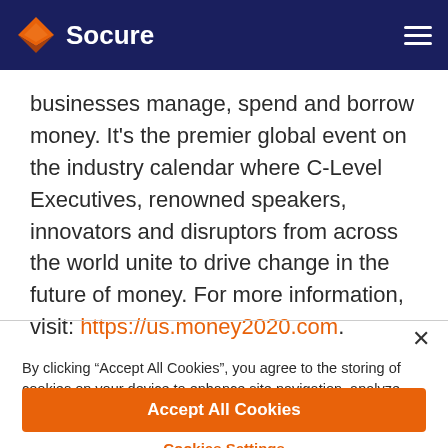Socure
businesses manage, spend and borrow money. It’s the premier global event on the industry calendar where C-Level Executives, renowned speakers, innovators and disruptors from across the world unite to drive change in the future of money. For more information, visit: https://us.money2020.com.
By clicking “Accept All Cookies”, you agree to the storing of cookies on your device to enhance site navigation, analyze site usage, and assist in our marketing efforts.
Accept All Cookies
Cookies Settings